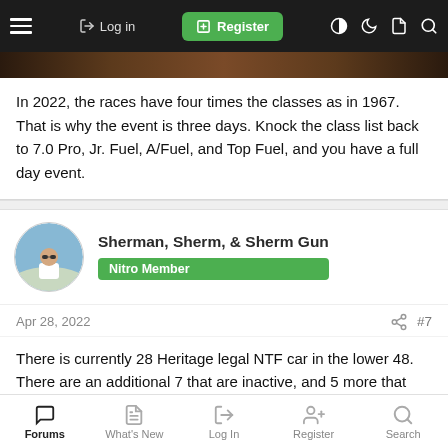≡  Log in  Register
In 2022, the races have four times the classes as in 1967. That is why the event is three days. Knock the class list back to 7.0 Pro, Jr. Fuel, A/Fuel, and Top Fuel, and you have a full day event.
Sherman, Sherm, & Sherm Gun — Nitro Member
Apr 28, 2022  #7
There is currently 28 Heritage legal NTF car in the lower 48. There are an additional 7 that are inactive, and 5 more that are currently being built. A few of those will be on the track this year. Most of those cars are in the Midwest. A 16 car field is not an issue. NHRA allowed and the extra money that the racers are building to the
Forums  What's New  Log In  Register  Search